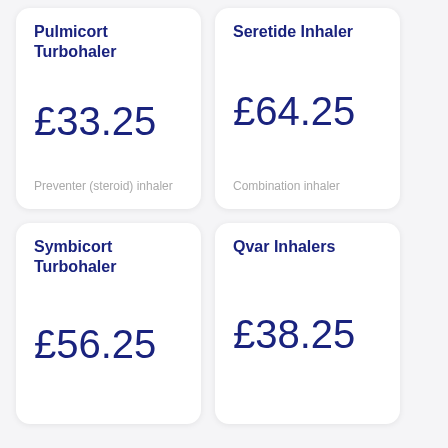Pulmicort Turbohaler
£33.25
Preventer (steroid) inhaler
Seretide Inhaler
£64.25
Combination inhaler
Symbicort Turbohaler
£56.25
Qvar Inhalers
£38.25